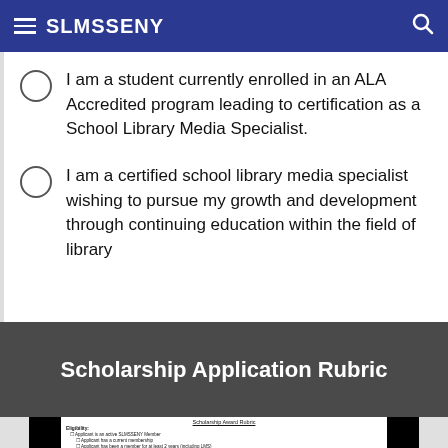SLMSSENY
I am a student currently enrolled in an ALA Accredited program leading to certification as a School Library Media Specialist.
I am a certified school library media specialist wishing to pursue my growth and development through continuing education within the field of library
Scholarship Application Rubric
[Figure (screenshot): A partial screenshot of the Scholarship Award Rubric document showing eligibility criteria including SLMSSENY membership, 7-county area, and ineligibility conditions, followed by a table header row.]